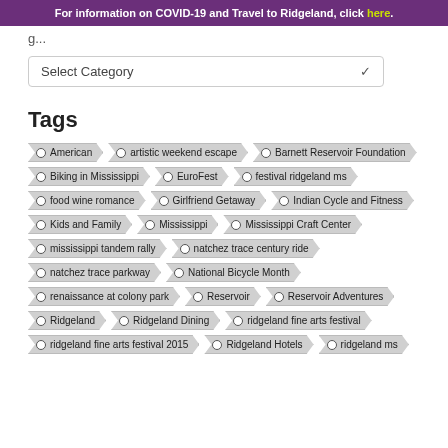For information on COVID-19 and Travel to Ridgeland, click here.
Select Category
Tags
American
artistic weekend escape
Barnett Reservoir Foundation
Biking in Mississippi
EuroFest
festival ridgeland ms
food wine romance
Girlfriend Getaway
Indian Cycle and Fitness
Kids and Family
Mississippi
Mississippi Craft Center
mississippi tandem rally
natchez trace century ride
natchez trace parkway
National Bicycle Month
renaissance at colony park
Reservoir
Reservoir Adventures
Ridgeland
Ridgeland Dining
ridgeland fine arts festival
ridgeland fine arts festival 2015
Ridgeland Hotels
ridgeland ms